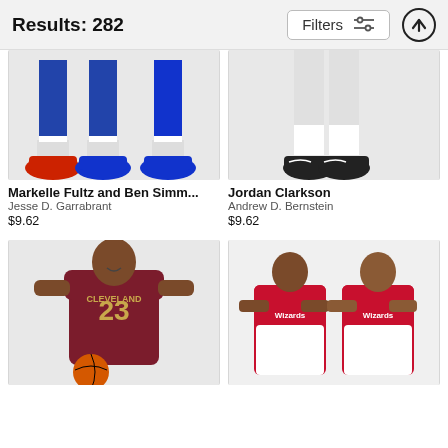Results: 282  Filters
[Figure (photo): Close-up of basketball players' legs and sneakers in Philadelphia 76ers uniforms (red and blue shoes)]
Markelle Fultz and Ben Simm...
Jesse D. Garrabrant
$9.62
[Figure (photo): Close-up of a basketball player's legs in white uniform with black Nike sneakers]
Jordan Clarkson
Andrew D. Bernstein
$9.62
[Figure (photo): LeBron James in Cleveland Cavaliers #23 maroon uniform holding a basketball, smiling]
[Figure (photo): Two Washington Wizards players in red and white uniforms with arms crossed, posing together]